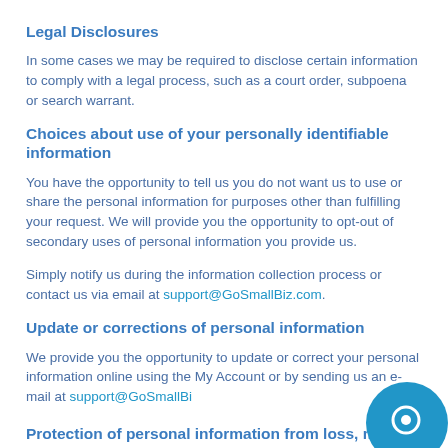Legal Disclosures
In some cases we may be required to disclose certain information to comply with a legal process, such as a court order, subpoena or search warrant.
Choices about use of your personally identifiable information
You have the opportunity to tell us you do not want us to use or share the personal information for purposes other than fulfilling your request. We will provide you the opportunity to opt-out of secondary uses of personal information you provide us.
Simply notify us during the information collection process or contact us via email at support@GoSmallBiz.com.
Update or corrections of personal information
We provide you the opportunity to update or correct your personal information online using the My Account or by sending us an e-mail at support@GoSmallBiz.
Protection of personal information from loss, misuse